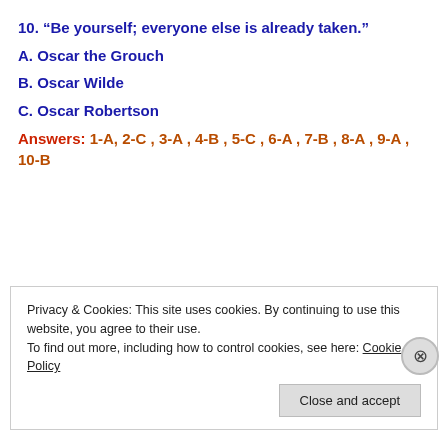10. “Be yourself; everyone else is already taken.”
A. Oscar the Grouch
B. Oscar Wilde
C. Oscar Robertson
Answers: 1-A, 2-C , 3-A , 4-B , 5-C , 6-A , 7-B , 8-A , 9-A , 10-B
Privacy & Cookies: This site uses cookies. By continuing to use this website, you agree to their use.
To find out more, including how to control cookies, see here: Cookie Policy